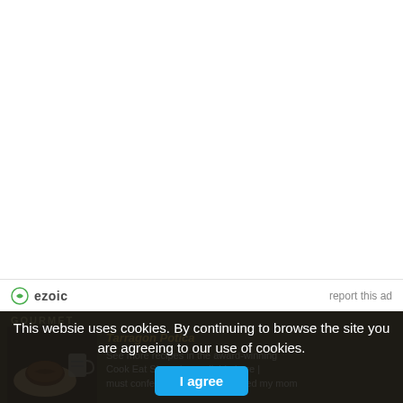[Figure (other): Advertisement area (blank white space)]
ezoic  report this ad
GOURMET
[Figure (photo): Food photo showing a baked potica (Slovenian roll cake) on a plate with a mug in the background]
Tarragon Potica
See more recipes in the award-winning Cook Eat Slovenia, available here | must confess that, while I watched my mom
This websie uses cookies. By continuing to browse the site you are agreeing to our use of cookies.
I agree